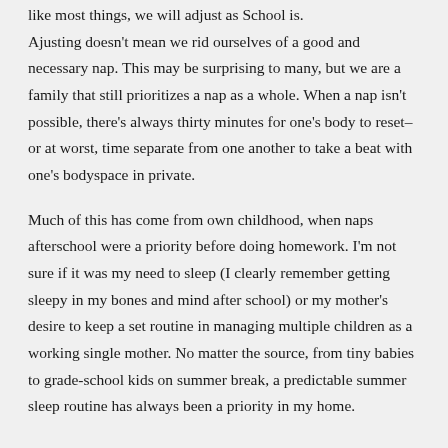like most things, we will adjust as School is. Ajusting doesn't mean we rid ourselves of a good and necessary nap. This may be surprising to many, but we are a family that still prioritizes a nap as a whole. When a nap isn't possible, there's always thirty minutes for one's body to reset–or at worst, time separate from one another to take a beat with one's bodyspace in private.
Much of this has come from own childhood, when naps afterschool were a priority before doing homework. I'm not sure if it was my need to sleep (I clearly remember getting sleepy in my bones and mind after school) or my mother's desire to keep a set routine in managing multiple children as a working single mother. No matter the source, from tiny babies to grade-school kids on summer break, a predictable summer sleep routine has always been a priority in my home.